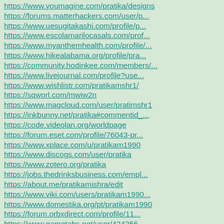https://www.youmagine.com/pratika/designs
https://forums.matterhackers.com/user/p...
https://www.uesugitakashi.com/profile/p...
https://www.escolamarilocasals.com/prof...
https://www.myanthemhealth.com/profile/...
https://www.hikealabama.org/profile/pra...
https://community.hodinkee.com/members/...
https://www.livejournal.com/profile?use...
https://www.wishlistr.com/pratikamshr1/
https://sqworl.com/mwiw2n
https://www.magcloud.com/user/pratimshr1
https://inkbunny.net/pratika#commentid_...
https://code.videolan.org/worldpage
https://forum.eset.com/profile/76043-pr...
https://www.xplace.com/u/pratikam1990
https://www.discogs.com/user/pratika
https://www.zotero.org/pratika
https://jobs.thedrinksbusiness.com/empl...
https://about.me/pratikamishra/edit
https://www.viki.com/users/pratikam1990...
https://www.domestika.org/pt/pratikam1990
https://forum.orbxdirect.com/profile/11...
https://www.gametabs.net/user/424256
https://in.mathworks.com/matlabcentral/...